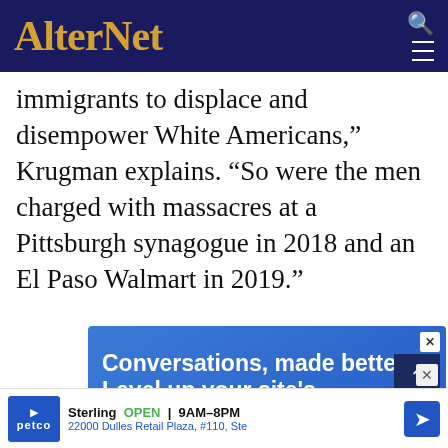AlterNet
immigrants to displace and disempower White Americans,” Krugman explains. “So were the men charged with massacres at a Pittsburgh synagogue in 2018 and an El Paso Walmart in 2019.”
[Figure (screenshot): Blue advertisement banner reading 'Conversations, made better: Level up your site's comments section' with INSTIGATOR branding and a phone mockup with chat UI]
[Figure (screenshot): Petco advertisement: Sterling OPEN 9AM-8PM, 22000 Dulles Retail Plaza, #110, Ste]